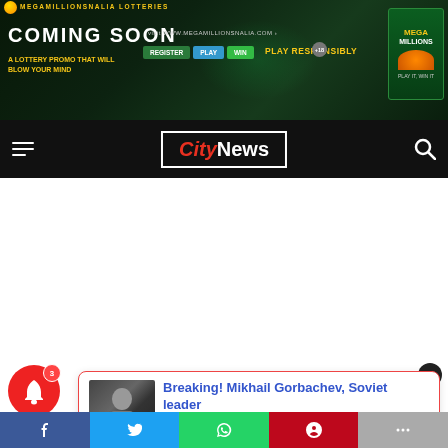[Figure (screenshot): MegaMillionsNalia Lotteries advertisement banner with 'Coming Soon' text, lottery buttons (Register, Play, Win), 'Play Responsibly' text, and Mega Millions logo on dark green background]
[Figure (screenshot): CityNews website navigation bar with hamburger menu on left, CityNews logo in center, and search icon on right, on black background]
[Figure (screenshot): Notification popup showing Breaking news about Mikhail Gorbachev, Soviet leader, posted 2 hours ago, with thumbnail photo, on white background with red border]
[Figure (screenshot): Social share bar at bottom with Facebook, Twitter, WhatsApp, Pinterest, and share icons. Red bell notification with badge '3' and 'Shares' label on left.]